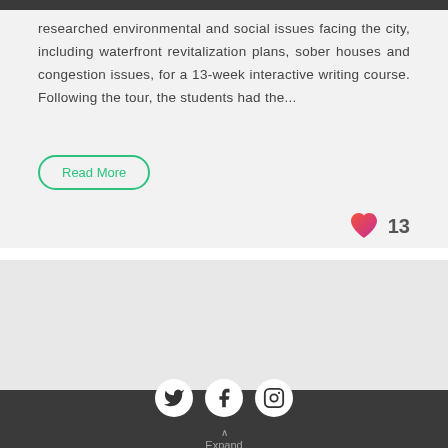researched environmental and social issues facing the city, including waterfront revitalization plans, sober houses and congestion issues, for a 13-week interactive writing course. Following the tour, the students had the...
Read More
13
[Figure (photo): Group of students outdoors against a sky background, some wearing backpacks and hats]
Twitter Facebook Instagram Expand Footer